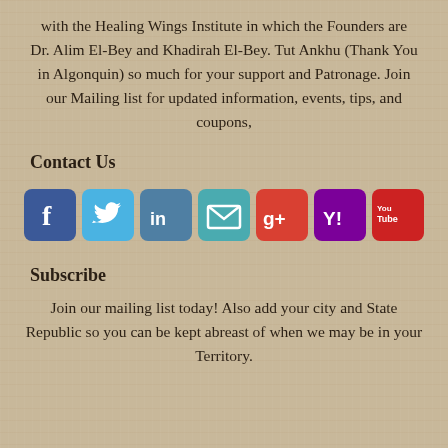with the Healing Wings Institute in which the Founders are Dr. Alim El-Bey and Khadirah El-Bey.  Tut Ankhu (Thank You in Algonquin)  so much for your support and Patronage.  Join our Mailing list for updated information, events, tips,  and coupons,
Contact Us
[Figure (infographic): Row of social media icon buttons: Facebook (blue), Twitter (light blue), LinkedIn (steel blue), Email (teal), Google+ (red-orange), Yahoo (purple), YouTube (red)]
Subscribe
Join our mailing list today!  Also add your city and State Republic so you can be kept abreast of when we may be in your Territory.